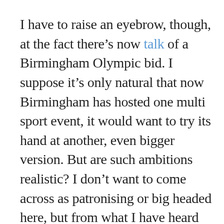I have to raise an eyebrow, though, at the fact there's now talk of a Birmingham Olympic bid. I suppose it's only natural that now Birmingham has hosted one multi sport event, it would want to try its hand at another, even bigger version. But are such ambitions realistic? I don't want to come across as patronising or big headed here, but from what I have heard over the past couple of days, Birmingham seems to suddenly be referring to itself as a great world city, the peer of London or Paris. Of course, by all accounts they did a terrific job with these commonwealth games, but the Olympic Games are another